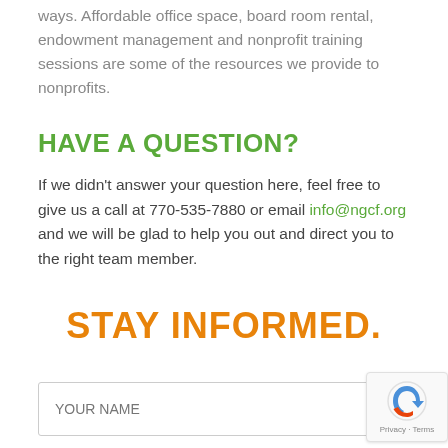ways. Affordable office space, board room rental, endowment management and nonprofit training sessions are some of the resources we provide to nonprofits.
HAVE A QUESTION?
If we didn't answer your question here, feel free to give us a call at 770-535-7880 or email info@ngcf.org and we will be glad to help you out and direct you to the right team member.
STAY INFORMED.
YOUR NAME